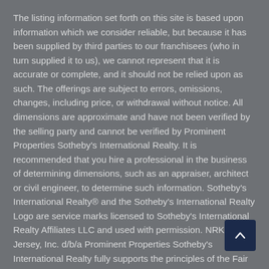The listing information set forth on this site is based upon information which we consider reliable, but because it has been supplied by third parties to our franchisees (who in turn supplied it to us), we cannot represent that it is accurate or complete, and it should not be relied upon as such. The offerings are subject to errors, omissions, changes, including price, or withdrawal without notice. All dimensions are approximate and have not been verified by the selling party and cannot be verified by Prominent Properties Sotheby's International Realty. It is recommended that you hire a professional in the business of determining dimensions, such as an appraiser, architect or civil engineer, to determine such information. Sotheby's International Realty® and the Sotheby's International Realty Logo are service marks licensed to Sotheby's International Realty Affiliates LLC and used with permission. NRK of New Jersey, Inc. d/b/a Prominent Properties Sotheby's International Realty fully supports the principles of the Fair Housing Act and the Equal Opportunity Act. Each franchise is independently owned and operated. Any services or products provided by independently owned and operated franchisees are not provided by, affiliated with or related to Sotheby's International Realty Affiliates LLC nor any of its affiliated companies.